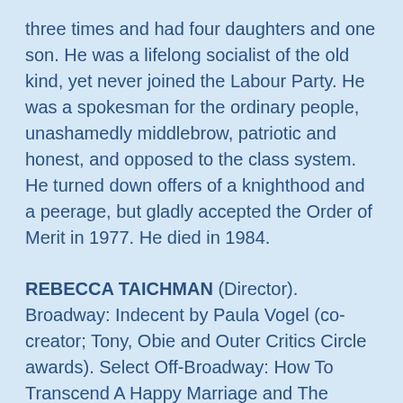three times and had four daughters and one son. He was a lifelong socialist of the old kind, yet never joined the Labour Party. He was a spokesman for the ordinary people, unashamedly middlebrow, patriotic and honest, and opposed to the class system. He turned down offers of a knighthood and a peerage, but gladly accepted the Order of Merit in 1977. He died in 1984.
REBECCA TAICHMAN (Director). Broadway: Indecent by Paula Vogel (co-creator; Tony, Obie and Outer Critics Circle awards). Select Off-Broadway: How To Transcend A Happy Marriage and The Oldest Boy by Sarah Ruhl (LCT); Luck of the Irish